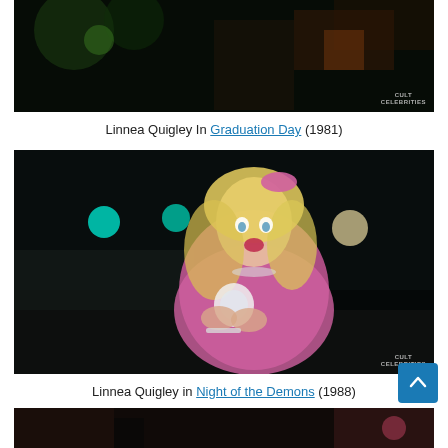[Figure (photo): Film still from Graduation Day (1981), partial top portion visible, dark scene with colorful lights]
Linnea Quigley In Graduation Day (1981)
[Figure (photo): Linnea Quigley in Night of the Demons (1988), blonde woman in pink outfit holding a compact mirror, looking surprised, outdoor night scene with colored lights]
Linnea Quigley in Night of the Demons (1988)
[Figure (photo): Partial third film still, bottom of page, dark scene]